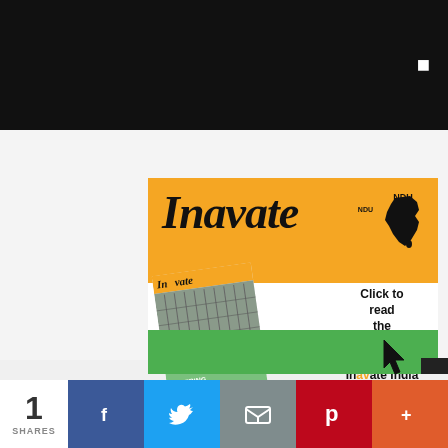[Figure (illustration): Inavate India magazine advertisement showing the orange Inavate India logo with India map silhouette, a tilted magazine cover thumbnail, green banner, and text 'Click to read the latest issue of Inavate India' with cursor arrow]
Click to read the latest issue of Inavate India
1 SHARES | Facebook | Twitter | Email | Pinterest | More